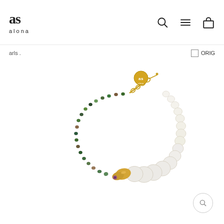as alona — navigation header with search, menu, and cart icons
arls
ORIG
[Figure (photo): Product photo of a necklace combining green/multicolor gemstone beads on the left half and white baroque pearls on the right half, joined by a gold snake-head pendant with a gemstone eye. A gold chain clasp with a circular 'as' logo tag is visible at the top. Shot on white background.]